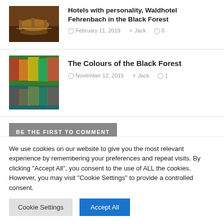[Figure (photo): Thumbnail photo of a hotel interior with warm amber/brown tones, tables and chairs visible]
Hotels with personality, Waldhotel Fehrenbach in the Black Forest
February 11, 2019   Jack   0
[Figure (photo): Thumbnail photo of colorful autumn forest with lake reflection, vibrant reds, oranges and greens]
The Colours of the Black Forest
November 12, 2015   Jack   1
BE THE FIRST TO COMMENT
We use cookies on our website to give you the most relevant experience by remembering your preferences and repeat visits. By clicking "Accept All", you consent to the use of ALL the cookies. However, you may visit "Cookie Settings" to provide a controlled consent.
Cookie Settings   Accept All